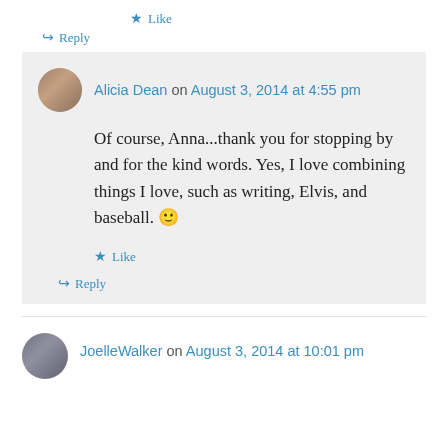★ Like
↪ Reply
Alicia Dean on August 3, 2014 at 4:55 pm
Of course, Anna...thank you for stopping by and for the kind words. Yes, I love combining things I love, such as writing, Elvis, and baseball. 🙂
★ Like
↪ Reply
JoelleWalker on August 3, 2014 at 10:01 pm